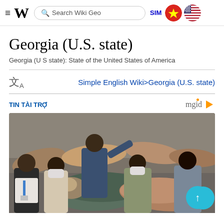≡ W  Search Wiki Geo  SIM [Vietnam flag] [US flag]
Georgia (U.S. state)
Georgia (U S state): State of the United States of America
文A    Simple English Wiki>Georgia (U.S. state)
TIN TÀI TRỢ    mgid ▷
[Figure (photo): People in masks examining ancient Egyptian wooden sarcophagi/coffins in a museum or exhibition setting. Multiple wooden artifacts visible on display tables.]